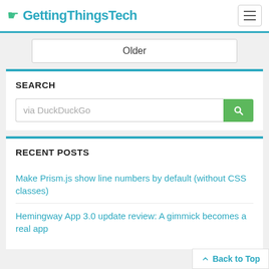GettingThingsTech
Older
SEARCH
via DuckDuckGo
RECENT POSTS
Make Prism.js show line numbers by default (without CSS classes)
Hemingway App 3.0 update review: A gimmick becomes a real app
Back to Top